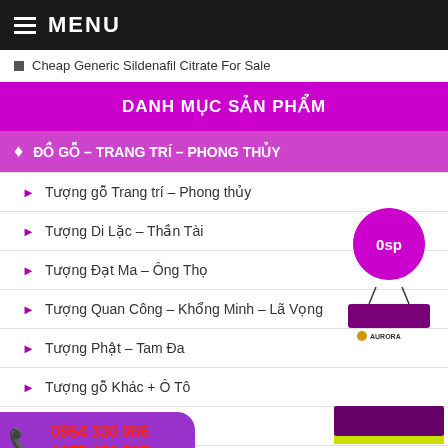MENU
Cheap Generic Sildenafil Citrate For Sale
DANH MỤC SẢN PHẨM
ĐỒ GỖ – TRANG TRÍ – PHONG THỦY
Tượng gỗ Trang trí – Phong thủy
Tượng Di Lặc – Thần Tài
Tượng Đạt Ma – Ông Thọ
Tượng Quan Công – Khổng Minh – Lã Vọng
Tượng Phật – Tam Đa
Tượng gỗ Khác + Ô Tô
Vật dụng – Tranh gỗ
Đồ trang trí an Thờ
[Figure (infographic): Product badge showing '0sp' in a flower/rosette shape with a purple hanging tag below, and Aurora brand logo]
[Figure (infographic): Purple and yellow colored banner/label graphic]
0964 330 066
0377 656 537
HOTLINE: